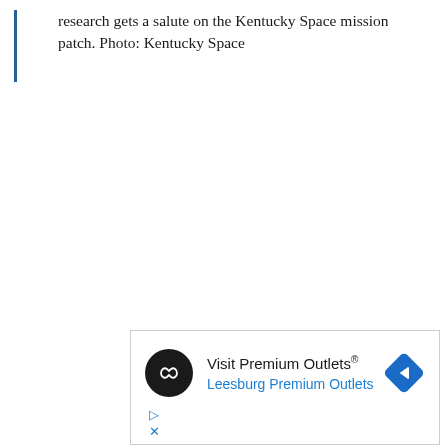research gets a salute on the Kentucky Space mission patch. Photo: Kentucky Space
[Figure (other): Advertisement for Visit Premium Outlets - Leesburg Premium Outlets, with logo and navigation icon]